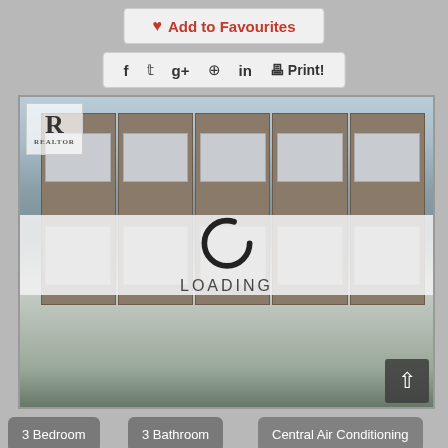♥ Add to Favourites
f  t  g+  ⊕  in  🖶 Print!
[Figure (screenshot): Real estate listing page showing a row of brick townhouses/condominiums. A loading spinner overlay with text 'LOADING' appears over the image. A REALTOR logo appears in the top-left of the image. A scroll-up button appears in the bottom-right corner.]
3 Bedroom
3 Bathroom
Central Air Conditioning